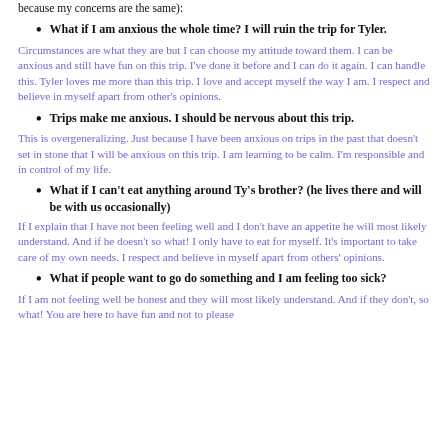because my concerns are the same):
What if I am anxious the whole time? I will ruin the trip for Tyler.
Circumstances are what they are but I can choose my attitude toward them. I can be anxious and still have fun on this trip. I've done it before and I can do it again. I can handle this. Tyler loves me more than this trip. I love and accept myself the way I am. I respect and believe in myself apart from other's opinions.
Trips make me anxious. I should be nervous about this trip.
This is overgeneralizing. Just because I have been anxious on trips in the past that doesn't set in stone that I will be anxious on this trip. I am learning to be calm. I'm responsible and in control of my life.
What if I can't eat anything around Ty's brother? (he lives there and will be with us occasionally)
If I explain that I have not been feeling well and I don't have an appetite he will most likely understand. And if he doesn't so what! I only have to eat for myself. It's important to take care of my own needs. I respect and believe in myself apart from others' opinions.
What if people want to go do something and I am feeling too sick?
If I am not feeling well be honest and they will most likely understand. And if they don't, so what! You are here to have fun and not to please